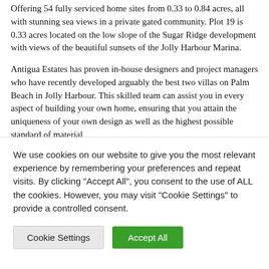Offering 54 fully serviced home sites from 0.33 to 0.84 acres, all with stunning sea views in a private gated community. Plot 19 is 0.33 acres located on the low slope of the Sugar Ridge development with views of the beautiful sunsets of the Jolly Harbour Marina.
Antigua Estates has proven in-house designers and project managers who have recently developed arguably the best two villas on Palm Beach in Jolly Harbour. This skilled team can assist you in every aspect of building your own home, ensuring that you attain the uniqueness of your own design as well as the highest possible standard of material
We use cookies on our website to give you the most relevant experience by remembering your preferences and repeat visits. By clicking "Accept All", you consent to the use of ALL the cookies. However, you may visit "Cookie Settings" to provide a controlled consent.